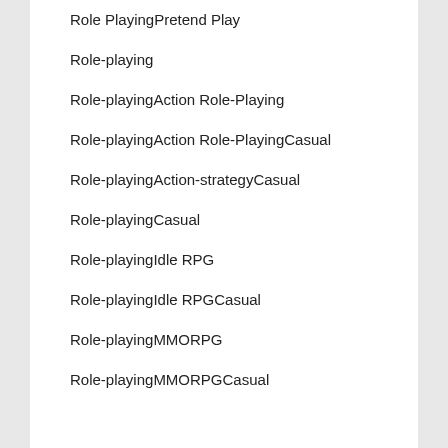Role PlayingPretend Play
Role-playing
Role-playingAction Role-Playing
Role-playingAction Role-PlayingCasual
Role-playingAction-strategyCasual
Role-playingCasual
Role-playingIdle RPG
Role-playingIdle RPGCasual
Role-playingMMORPG
Role-playingMMORPGCasual